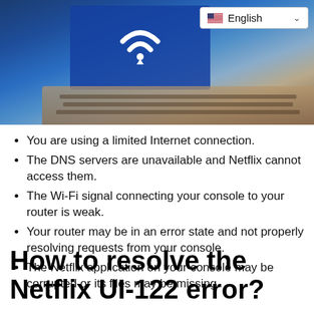[Figure (photo): Person typing on a laptop with a blue WiFi symbol on the screen, wooden desk background. Language selector overlay in top-right showing English with US flag and dropdown chevron.]
You are using a limited Internet connection.
The DNS servers are unavailable and Netflix cannot access them.
The Wi-Fi signal connecting your console to your router is weak.
Your router may be in an error state and not properly resolving requests from your console.
The Netflix application on your console may be corrupted or its files may be missing.
How to resolve the Netflix UI-122 error?